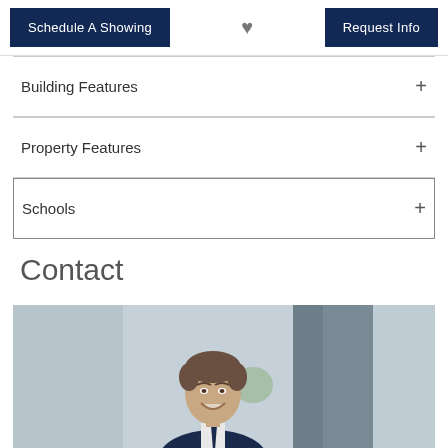Schedule A Showing
♥
Request Info
Building Features +
Property Features +
Schools +
Contact
[Figure (photo): Headshot of a smiling middle-aged man in a suit, photographed outdoors near white columns]